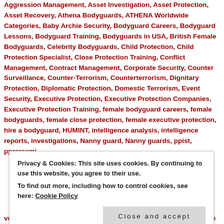Aggression Management, Asset Investigation, Asset Protection, Asset Recovery, Athena Bodyguards, ATHENA Worldwide Categories, Baby Archie Security, Bodyguard Careers, Bodyguard Lessons, Bodyguard Training, Bodyguards in USA, British Female Bodyguards, Celebrity Bodyguards, Child Protection, Child Protection Specialist, Close Protection Training, Conflict Management, Contract Management, Corporate Security, Counter Surveillance, Counter-Terrorism, Counterterrorism, Dignitary Protection, Diplomatic Protection, Domestic Terrorism, Event Security, Executive Protection, Executive Protection Companies, Executive Protection Training, female bodyguard careers, female bodyguards, female close protection, female executive protection, hire a bodyguard, HUMINT, intelligence analysis, intelligence reports, investigations, Nanny guard, Nanny guards, ppist, pprsrssmi...
Privacy & Cookies: This site uses cookies. By continuing to use this website, you agree to their use. To find out more, including how to control cookies, see here: Cookie Policy
vulnerability assessment, workplace violence, workplace violence